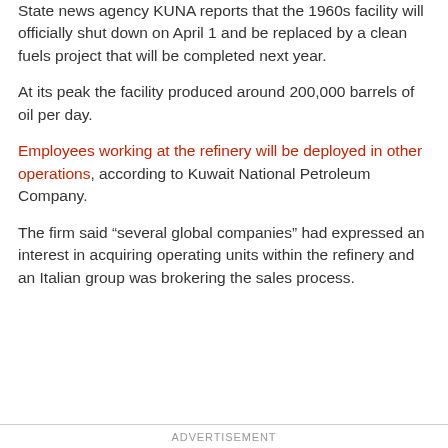State news agency KUNA reports that the 1960s facility will officially shut down on April 1 and be replaced by a clean fuels project that will be completed next year.
At its peak the facility produced around 200,000 barrels of oil per day.
Employees working at the refinery will be deployed in other operations, according to Kuwait National Petroleum Company.
The firm said “several global companies” had expressed an interest in acquiring operating units within the refinery and an Italian group was brokering the sales process.
ADVERTISEMENT